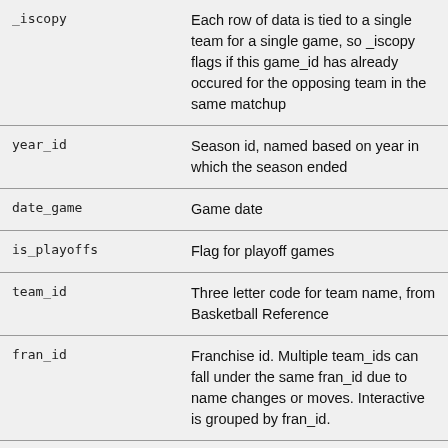| Field | Description |
| --- | --- |
| _iscopy | Each row of data is tied to a single team for a single game, so _iscopy flags if this game_id has already occured for the opposing team in the same matchup |
| year_id | Season id, named based on year in which the season ended |
| date_game | Game date |
| is_playoffs | Flag for playoff games |
| team_id | Three letter code for team name, from Basketball Reference |
| fran_id | Franchise id. Multiple team_ids can fall under the same fran_id due to name changes or moves. Interactive is grouped by fran_id. |
| pts | Points scored by team |